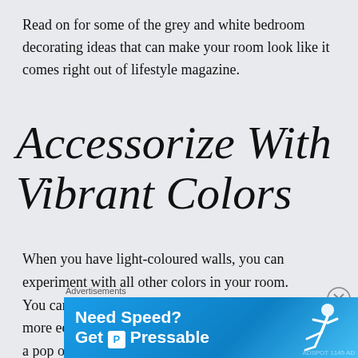Read on for some of the grey and white bedroom decorating ideas that can make your room look like it comes right out of lifestyle magazine.
Accessorize With Vibrant Colors
When you have light-coloured walls, you can experiment with all other colors in your room. You can try with orange bedding and add a few more eccentrics in your room to give your room a pop of
[Figure (screenshot): Advertisement banner for Pressable hosting service with blue background, bold white text 'Need Speed? Get Pressable' with a logo icon, and a person flying/running figure on the right side.]